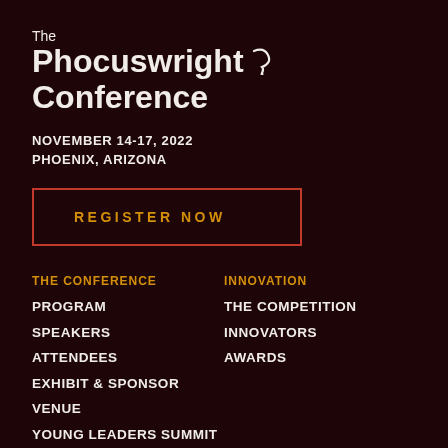The Phocuswright Conference
NOVEMBER 14-17, 2022
PHOENIX, ARIZONA
REGISTER NOW
THE CONFERENCE
PROGRAM
SPEAKERS
ATTENDEES
EXHIBIT & SPONSOR
VENUE
YOUNG LEADERS SUMMIT
INNOVATION
THE COMPETITION
INNOVATORS
AWARDS